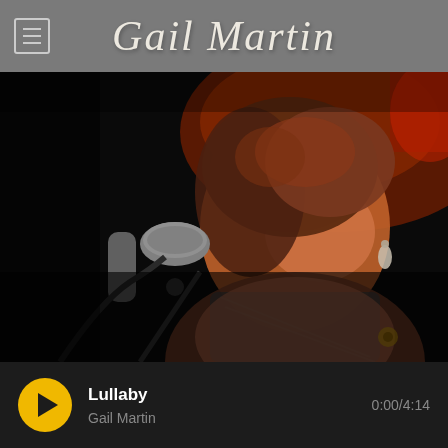Gail Martin
[Figure (photo): A woman with short reddish-brown hair singing into a microphone on stage, lit with warm amber light against a dark background, wearing earrings and a scarf.]
Lullaby
Gail Martin
0:00/4:14